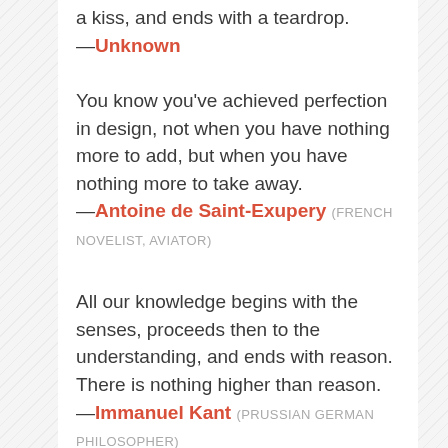a kiss, and ends with a teardrop.
—Unknown
You know you've achieved perfection in design, not when you have nothing more to add, but when you have nothing more to take away.
—Antoine de Saint-Exupery (FRENCH NOVELIST, AVIATOR)
All our knowledge begins with the senses, proceeds then to the understanding, and ends with reason. There is nothing higher than reason.
—Immanuel Kant (PRUSSIAN GERMAN PHILOSOPHER)